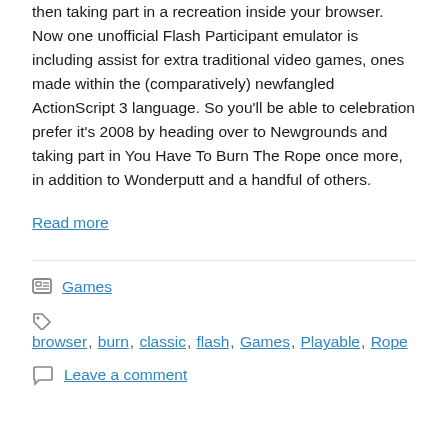then taking part in a recreation inside your browser. Now one unofficial Flash Participant emulator is including assist for extra traditional video games, ones made within the (comparatively) newfangled ActionScript 3 language. So you'll be able to celebration prefer it's 2008 by heading over to Newgrounds and taking part in You Have To Burn The Rope once more, in addition to Wonderputt and a handful of others.
Read more
Categories: Games
Tags: browser, burn, classic, flash, Games, Playable, Rope
Leave a comment